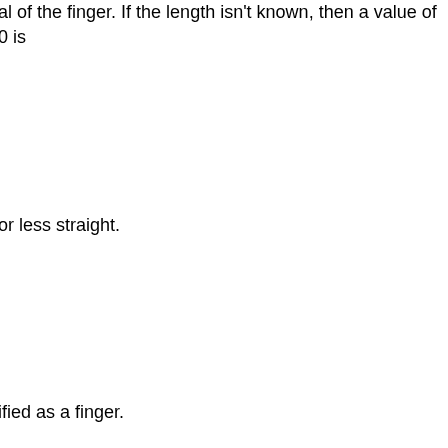al of the finger. If the length isn't known, then a value of 0 is
or less straight.
ified as a finger.